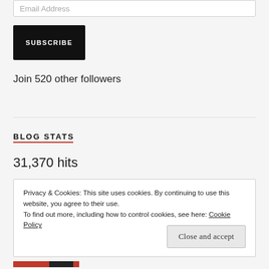Email Address
SUBSCRIBE
Join 520 other followers
BLOG STATS
31,370 hits
Privacy & Cookies: This site uses cookies. By continuing to use this website, you agree to their use.
To find out more, including how to control cookies, see here: Cookie Policy
Close and accept